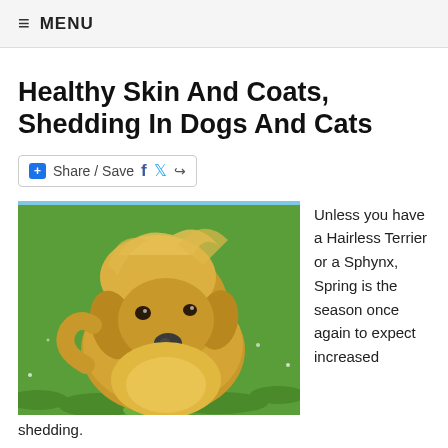≡ MENU
Healthy Skin And Coats, Shedding In Dogs And Cats
Share / Save
[Figure (photo): A fluffy golden-haired small dog (likely a Yorkshire Terrier or similar breed) sitting on green grass, looking up at the camera with a tilted head. Photo has a light blue border at top.]
Unless you have a Hairless Terrier or a Sphynx, Spring is the season once again to expect increased shedding.